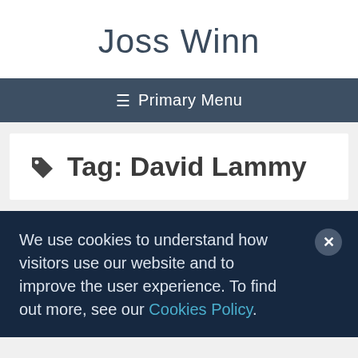Joss Winn
☰ Primary Menu
Tag: David Lammy
We use cookies to understand how visitors use our website and to improve the user experience. To find out more, see our Cookies Policy.